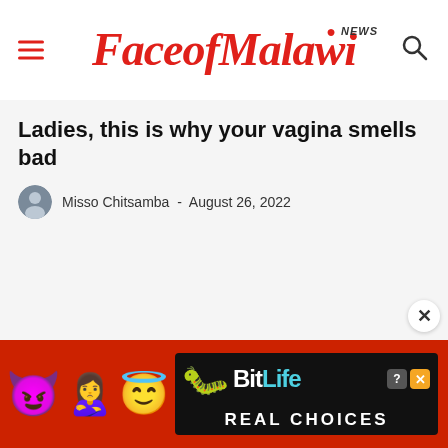FaceofMalawi NEWS
Ladies, this is why your vagina smells bad
Misso Chitsamba - August 26, 2022
[Figure (screenshot): BitLife advertisement banner with emoji characters (devil, woman, angel emoji), sperm emoji, BitLife logo and 'REAL CHOICES' text on dark background]